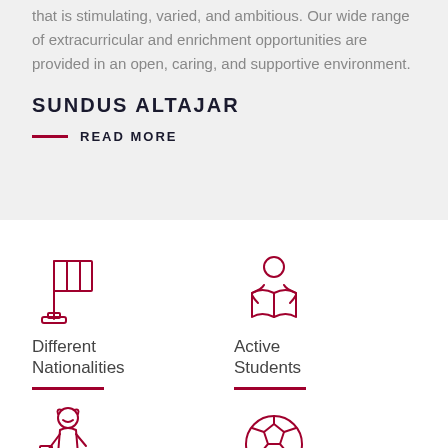that is stimulating, varied, and ambitious. Our wide range of extracurricular and enrichment opportunities are provided in an open, caring, and supportive environment.
SUNDUS ALTAJAR
READ MORE
[Figure (illustration): Line icon of a flag on a pole with base]
Different Nationalities
[Figure (illustration): Line icon of a person reading a book]
Active Students
[Figure (illustration): Line icon of a girl/student figure]
[Figure (illustration): Line icon of a soccer ball]